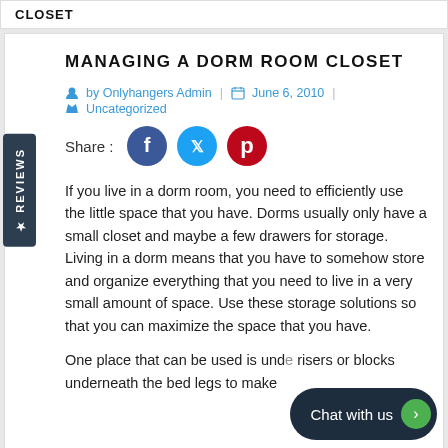CLOSET
MANAGING A DORM ROOM CLOSET
by Onlyhangers Admin | June 6, 2010 | Uncategorized
[Figure (infographic): Social share buttons: Share : Facebook (blue circle), Twitter (cyan circle), Pinterest (red circle)]
If you live in a dorm room, you need to efficiently use the little space that you have. Dorms usually only have a small closet and maybe a few drawers for storage. Living in a dorm means that you have to somehow store and organize everything that you need to live in a very small amount of space. Use these storage solutions so that you can maximize the space that you have.
One place that can be used is unde... risers or blocks underneath the bed legs to make